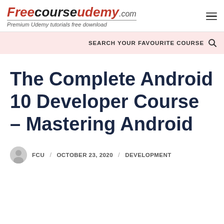Freecourseudemy.com — Premium Udemy tutorials free download
SEARCH YOUR FAVOURITE COURSE
The Complete Android 10 Developer Course – Mastering Android
FCU / OCTOBER 23, 2020 / DEVELOPMENT